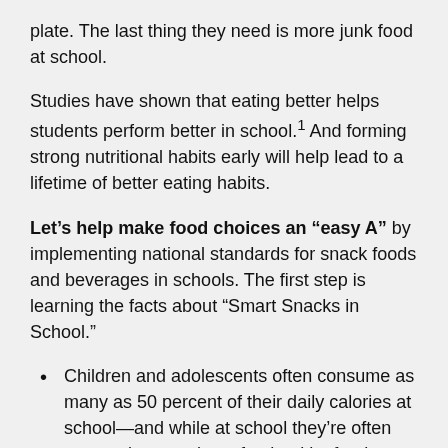plate. The last thing they need is more junk food at school.
Studies have shown that eating better helps students perform better in school.1 And forming strong nutritional habits early will help lead to a lifetime of better eating habits.
Let's help make food choices an “easy A” by implementing national standards for snack foods and beverages in schools. The first step is learning the facts about “Smart Snacks in School.”
Children and adolescents often consume as many as 50 percent of their daily calories at school—and while at school they’re often exposed to a variety of unhealthy foods.
These unhealthy foods are usually found in places like school vending machines, snack